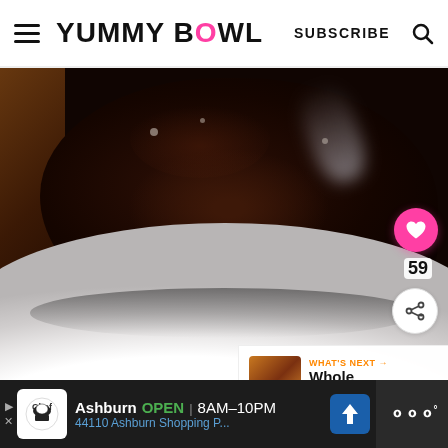YUMMY BOWL | SUBSCRIBE
[Figure (photo): Close-up overhead photo of a chocolate mug cake in a white ceramic bowl/ramekin, showing dark molten chocolate with steam and crumbs, with a pink heart button showing 59 likes and a share button overlaid on the right side]
WHAT'S NEXT → Whole Roasted...
Ashburn OPEN | 8AM–10PM 44110 Ashburn Shopping P...